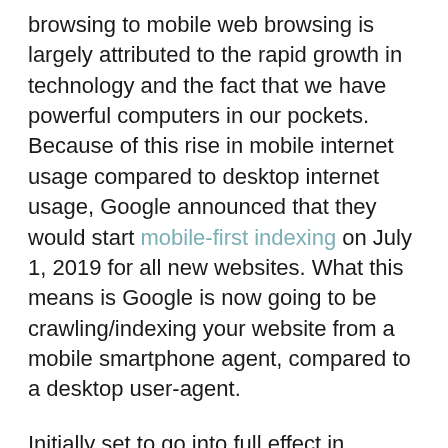browsing to mobile web browsing is largely attributed to the rapid growth in technology and the fact that we have powerful computers in our pockets. Because of this rise in mobile internet usage compared to desktop internet usage, Google announced that they would start mobile-first indexing on July 1, 2019 for all new websites. What this means is Google is now going to be crawling/indexing your website from a mobile smartphone agent, compared to a desktop user-agent.
Initially set to go into full effect in September 2020, mobile-first indexing will be fully rolled out by March 2021, based on a recent announcement.